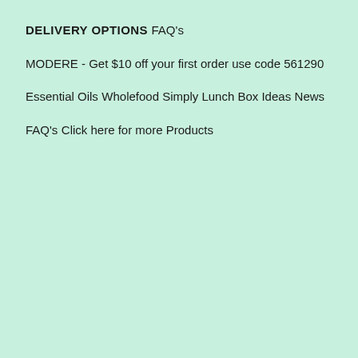DELIVERY OPTIONS
FAQ's
MODERE - Get $10 off your first order use code 561290
Essential Oils
Wholefood Simply Lunch Box Ideas
News
FAQ's
Click here for more Products